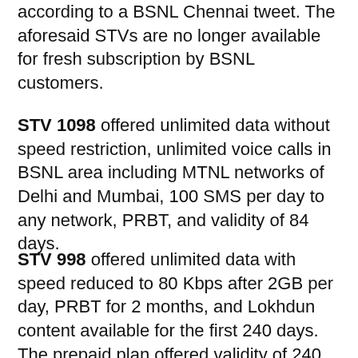BSNL has discontinued STV 1098 and STV 998, according to a BSNL Chennai tweet. The aforesaid STVs are no longer available for fresh subscription by BSNL customers.
STV 1098 offered unlimited data without speed restriction, unlimited voice calls in BSNL area including MTNL networks of Delhi and Mumbai, 100 SMS per day to any network, PRBT, and validity of 84 days.
STV 998 offered unlimited data with speed reduced to 80 Kbps after 2GB per day, PRBT for 2 months, and Lokhdun content available for the first 240 days. The prepaid plan offered validity of 240 days.